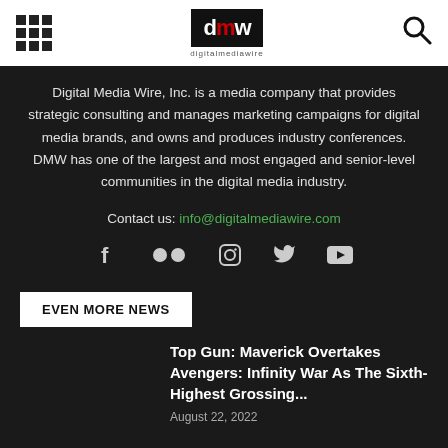Digital Media Wire header with logo and navigation
Digital Media Wire, Inc. is a media company that provides strategic consulting and manages marketing campaigns for digital media brands, and owns and produces industry conferences. DMW has one of the largest and most engaged and senior-level communities in the digital media industry.
Contact us: info@digitalmediawire.com
[Figure (infographic): Social media icons: Facebook, Flickr, Instagram, Twitter, YouTube]
EVEN MORE NEWS
Top Gun: Maverick Overtakes Avengers: Infinity War As The Sixth-Highest Grossing...
August 22, 2022